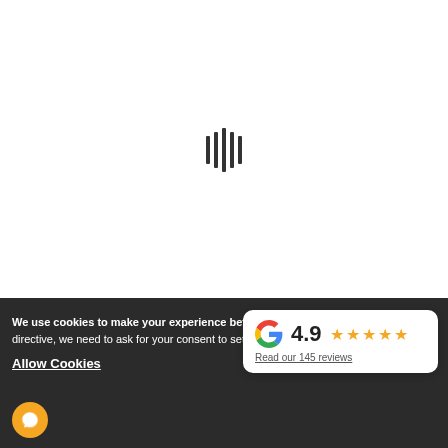[Figure (other): Loading indicator with 5 vertical bars of varying heights centered on white background]
We use cookies to make your experience better. To comply with the new e-Privacy directive, we need to ask for your consent to set the cookies. Learn more.
Allow Cookies
DEMO 2C DESK
$632.69  $442.88
[Figure (other): Google review card showing 4.9 rating with 5 gold stars and text 'Read our 145 reviews']